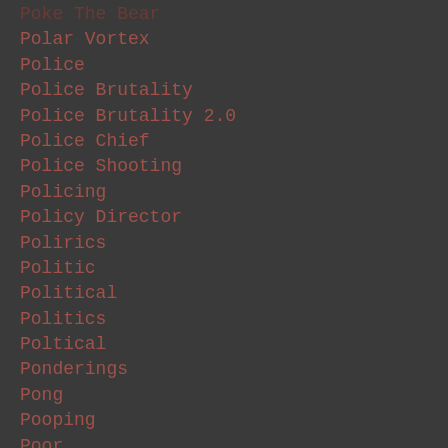Poke The Bear
Polar Vortex
Police
Police Brutality
Police Brutality 2.0
Police Chief
Police Shooting
Policing
Policy Director
Polirics
Politic
Political
Politics
Poltical
Ponderings
Pong
Pooping
Poor
PootieTang
Pop
Pop Culture